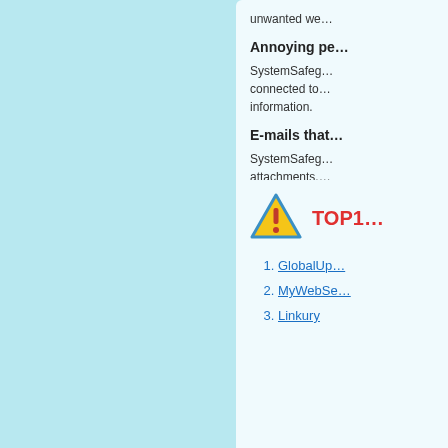unwanted we...
Annoying pe...
SystemSafeg... connected to ... information.
E-mails that...
SystemSafeg... attachments,...
[Figure (illustration): Warning triangle icon with exclamation mark]
TOP1...
GlobalUp...
MyWebSe...
Linkury